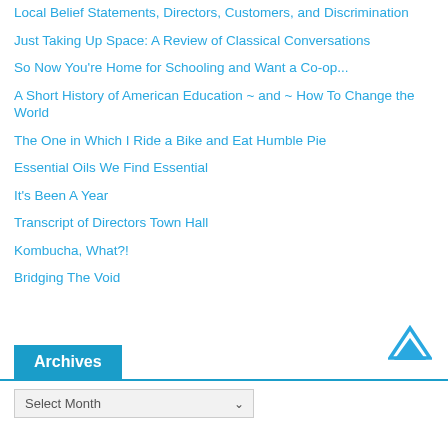Local Belief Statements, Directors, Customers, and Discrimination
Just Taking Up Space: A Review of Classical Conversations
So Now You're Home for Schooling and Want a Co-op...
A Short History of American Education ~ and ~ How To Change the World
The One in Which I Ride a Bike and Eat Humble Pie
Essential Oils We Find Essential
It's Been A Year
Transcript of Directors Town Hall
Kombucha, What?!
Bridging The Void
Archives
Select Month